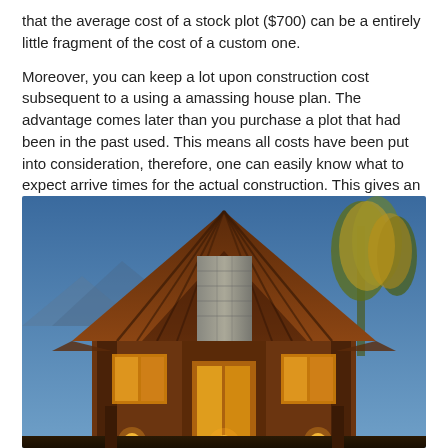that the average cost of a stock plot ($700) can be a entirely little fragment of the cost of a custom one.
Moreover, you can keep a lot upon construction cost subsequent to a using a amassing house plan. The advantage comes later than you purchase a plot that had been in the past used. This means all costs have been put into consideration, therefore, one can easily know what to expect arrive times for the actual construction. This gives an accurate budget, a small construction span, and efficiency due to prior arrangements during the recent use of the house plan.
[Figure (photo): Exterior photo of a rustic wooden house with a large triangular gable roof featuring exposed timber beams and rafters, a stone chimney in the center, warm interior lighting glowing from windows, set against a twilight blue sky with trees visible to the right.]